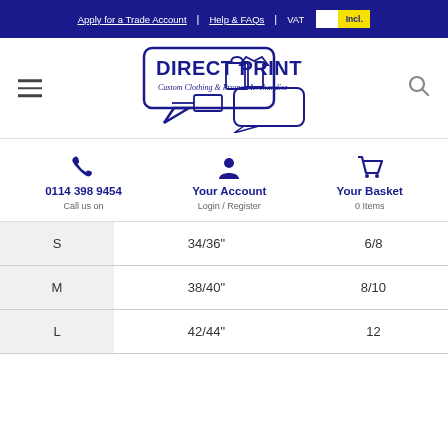Apply for a Trade Account | Help & FAQs | VAT Incl.
[Figure (logo): Direct Print logo - Custom Clothing & Promo Merchandise with speech bubble and icons]
0114 398 9454 Call us on
Your Account Login / Register
Your Basket 0 Items
| S | 34/36" | 6/8 |
| M | 38/40" | 8/10 |
| L | 42/44" | 12 |